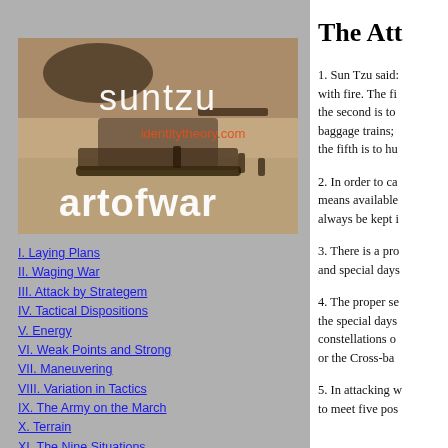[Figure (photo): Sepia-toned vintage military photograph with WWI-era artillery/tank, overlaid with white text 'suntzu', orange/red text 'identitytheory.com', and white text 'artofwar']
I. Laying Plans
II. Waging War
III. Attack by Strategem
IV. Tactical Dispositions
V. Energy
VI. Weak Points and Strong
VII. Maneuvering
VIII. Variation in Tactics
IX. The Army on the March
X. Terrain
XI. The Nine Situations
The Att
1. Sun Tzu said: with fire. The fi the second is to baggage trains; the fifth is to hu
2. In order to ca means available always be kept i
3. There is a pro and special days
4. The proper se the special days constellations o or the Cross-ba
5. In attacking w to meet five pos